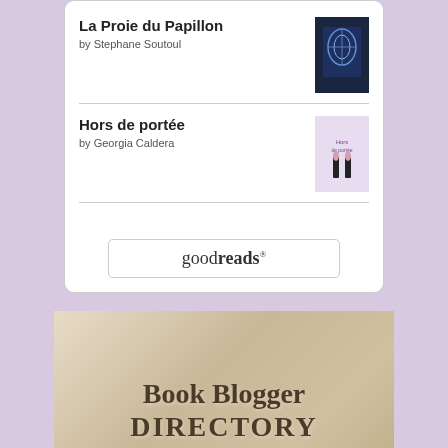[Figure (other): Goodreads widget showing two book entries: 'La Proie du Papillon' by Stephane Soutoul and 'Hors de portée' by Georgia Caldera, with a goodreads button at the bottom]
[Figure (other): Book Blogger Directory banner image with text 'Book Blogger DIRECTORY' on a beige/tan background with stacked books, and a black bar at the bottom with text 'I'm listed. Are you?']